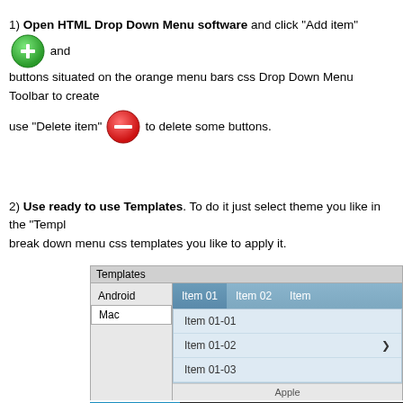1) Open HTML Drop Down Menu software and click "Add item" [green button] and buttons situated on the orange menu bars css Drop Down Menu Toolbar to create use "Delete item" [red button] to delete some buttons.
2) Use ready to use Templates. To do it just select theme you like in the "Templ... break down menu css templates you like to apply it.
[Figure (screenshot): Templates panel showing Android and Mac options in left list, with Mac selected. Right side shows a blue Mac-style dropdown menu with Item 01 active, showing sub-items Item 01-01, Item 01-02 (with arrow), Item 01-03, Apple label at bottom. Below that is a dark bar with Menu Item 01 (blue/active) and Menu Item 02 (dark).]